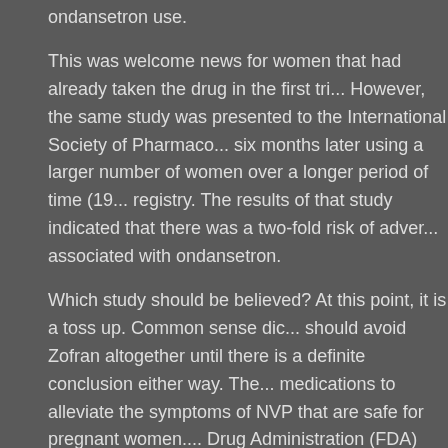ondansetron use.
This was welcome news for women that had already taken the drug in the first tri... However, the same study was presented to the International Society of Pharmaco... six months later using a larger number of women over a longer period of time (19... registry. The results of that study indicated that there was a two-fold risk of adver... associated with ondansetron.
Which study should be believed? At this point, it is a toss up. Common sense dic... should avoid Zofran altogether until there is a definite conclusion either way. The... medications to alleviate the symptoms of NVP that are safe for pregnant women.... Drug Administration (FDA) does not approve Zofran for NVP, so that should be a...
However, according to the website of Williams Kherkher, if this warning comes t... address the issue. If you were prescribed with Zofran while pregnant and your ch... a dangerous drug lawyer in your area immediately to discuss how to get compen...
Judicial and Non- judicial Foreclosures
Posted by Spark on Oct 29, 2014 in Foreclosure Law | 1 comment
Records between 2007 and 2014 from Debt.org, America's Debt Help Organizatio...